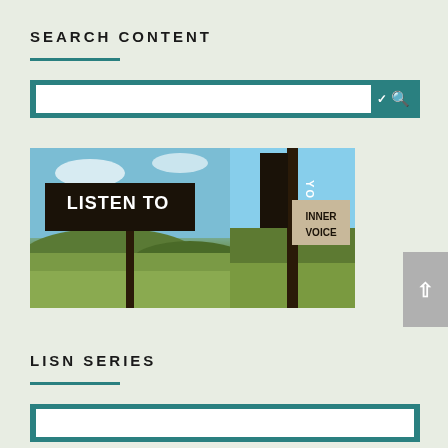SEARCH CONTENT
[Figure (screenshot): Search bar UI with teal background, white input field, chevron and magnifying glass icons]
[Figure (photo): Street signs reading LISTEN TO YOUR INNER VOICE on a post against sky and green hills background]
LISN SERIES
[Figure (screenshot): Second search bar UI with teal background at bottom of page]